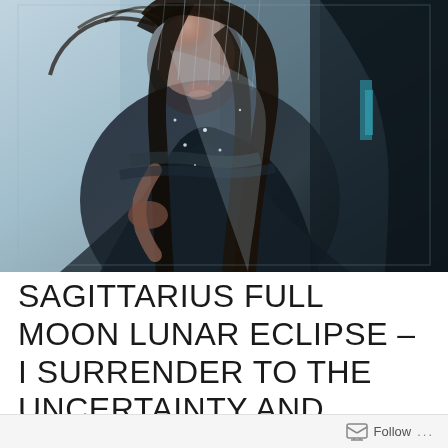[Figure (photo): Dark atmospheric fantasy photo of a woman with long dark hair in dark clothing, appearing to stand in rain or mist, with a mystical ethereal quality. Blue-grey tones with dramatic lighting.]
SAGITTARIUS FULL MOON LUNAR ECLIPSE – I SURRENDER TO THE UNCERTAINTY AND ALLOW THE MAGIC TO UNFOLD
Follow ...